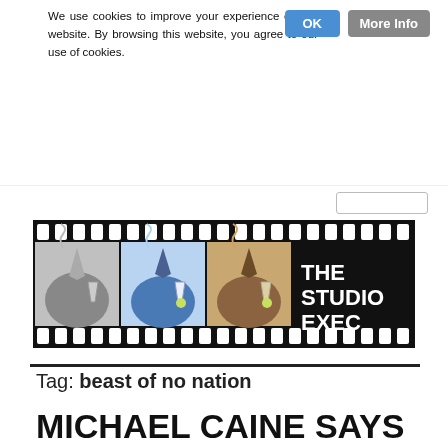We use cookies to improve your experience on our website. By browsing this website, you agree to our use of cookies.
[Figure (logo): The Studio Exec website banner logo — film strip style banner showing cartoon illustrations of a man in a suit holding a martini glass and cigar in greyscale and color panels, with bold white text 'THE STUDIO EXEC' on black background.]
Tag: beast of no nation
MICHAEL CAINE SAYS ALL